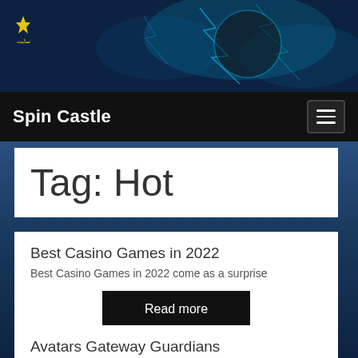[Figure (illustration): Dark blue cyberpunk-style hero background with glowing cyan lightning effects and game character silhouettes]
Spin Castle
Tag: Hot
Best Casino Games in 2022
Best Casino Games in 2022 come as a surprise
Read more
Avatars Gateway Guardians